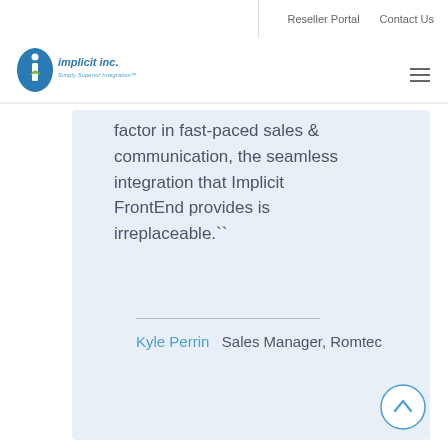Reseller Portal   Contact Us
[Figure (logo): Implicit Inc. logo — oval with letter i, text 'implicit inc. Simply Superior Integration']
factor in fast-paced sales & communication, the seamless integration that Implicit FrontEnd provides is irreplaceable.``
Kyle Perrin   Sales Manager, Romtec